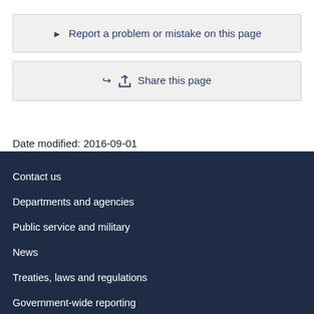▶ Report a problem or mistake on this page
Share this page
Date modified: 2016-09-01
Contact us
Departments and agencies
Public service and military
News
Treaties, laws and regulations
Government-wide reporting